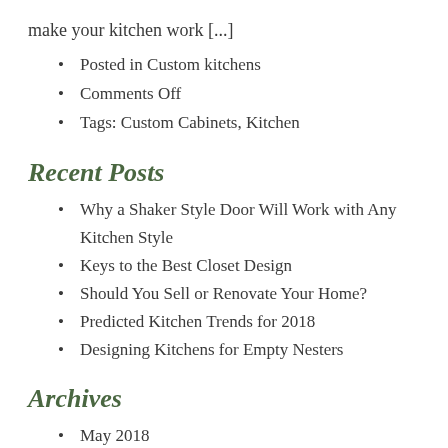make your kitchen work [...]
Posted in Custom kitchens
Comments Off
Tags: Custom Cabinets, Kitchen
Recent Posts
Why a Shaker Style Door Will Work with Any Kitchen Style
Keys to the Best Closet Design
Should You Sell or Renovate Your Home?
Predicted Kitchen Trends for 2018
Designing Kitchens for Empty Nesters
Archives
May 2018
April 2018
March 2018